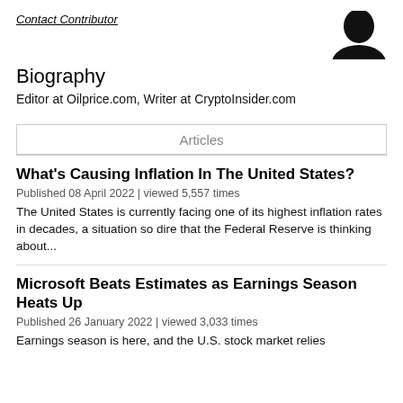Contact Contributor
[Figure (photo): Profile avatar silhouette, dark/black shape of a person's head and shoulders]
Biography
Editor at Oilprice.com, Writer at CryptoInsider.com
Articles
What’s Causing Inflation In The United States?
Published 08 April 2022 | viewed 5,557 times
The United States is currently facing one of its highest inflation rates in decades, a situation so dire that the Federal Reserve is thinking about…
Microsoft Beats Estimates as Earnings Season Heats Up
Published 26 January 2022 | viewed 3,033 times
Earnings season is here, and the U.S. stock market relies